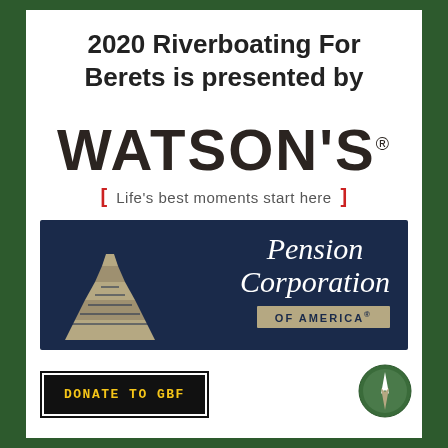2020 Riverboating For Berets is presented by
[Figure (logo): Watson's logo with tagline 'Life's best moments start here' in red brackets]
[Figure (logo): Pension Corporation of America logo on dark navy background with architectural graphic]
[Figure (logo): Compass/navigation icon circle in dark green]
DONATE TO GBF